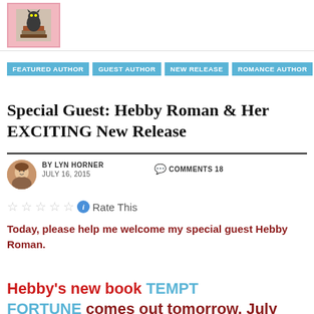[Figure (photo): Blog header logo: pink box with small illustration of a cat on books]
FEATURED AUTHOR
GUEST AUTHOR
NEW RELEASE
ROMANCE AUTHOR
Special Guest: Hebby Roman & Her EXCITING New Release
BY LYN HORNER   COMMENTS 18   JULY 16, 2015
Rate This
Today, please help me welcome my special guest Hebby Roman.
Hebby's new book TEMPT FORTUNE comes out tomorrow, July